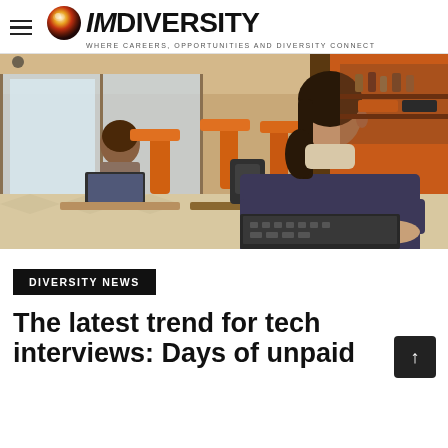IMdiversity — WHERE CAREERS, OPPORTUNITIES AND DIVERSITY CONNECT
[Figure (photo): Two women working on laptops in a cafe/lounge setting with orange chairs. The foreground shows a woman in a dark sweater typing, while another woman is visible in the background.]
DIVERSITY NEWS
The latest trend for tech interviews: Days of unpaid